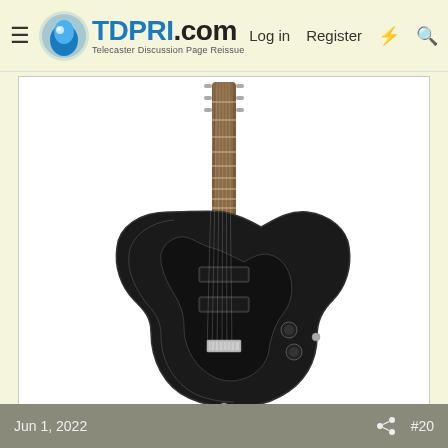TDPRI.com — Telecaster Discussion Page Reissue — Log in | Register
[Figure (photo): Black Squier Jazzmaster-style electric guitar with dark neck, black pickguard, and chrome hardware on white background]
Oh yeah!
Now it's just a matter of waiting.
Jun 1, 2022  #20